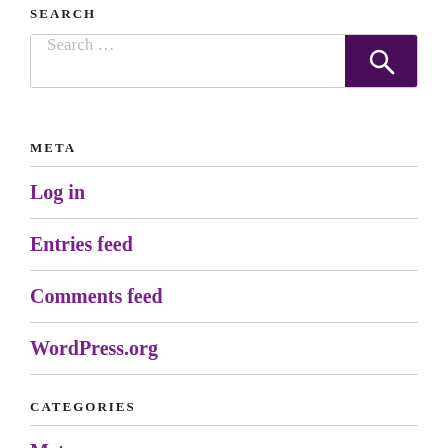SEARCH
[Figure (other): Search input box with dark purple search button icon]
META
Log in
Entries feed
Comments feed
WordPress.org
CATEGORIES
Meta